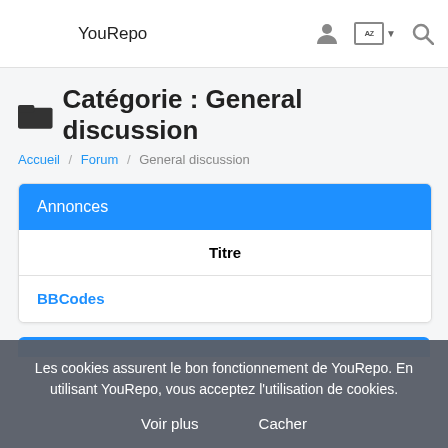YouRepo
📁 Catégorie : General discussion
Accueil / Forum / General discussion
| Annonces | Titre |
| --- | --- |
| BBCodes |  |
Les cookies assurent le bon fonctionnement de YouRepo. En utilisant YouRepo, vous acceptez l'utilisation de cookies.
Voir plus  Cacher